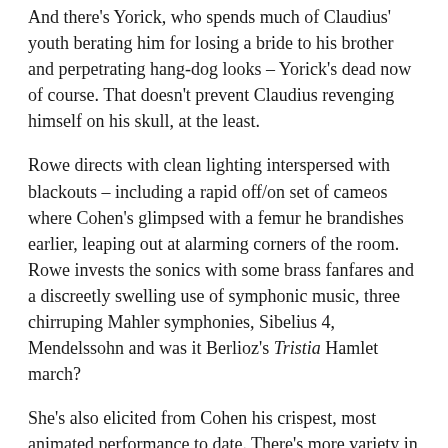And there's Yorick, who spends much of Claudius' youth berating him for losing a bride to his brother and perpetrating hang-dog looks – Yorick's dead now of course. That doesn't prevent Claudius revenging himself on his skull, at the least.
Rowe directs with clean lighting interspersed with blackouts – including a rapid off/on set of cameos where Cohen's glimpsed with a femur he brandishes earlier, leaping out at alarming corners of the room. Rowe invests the sonics with some brass fanfares and a discreetly swelling use of symphonic music, three chirruping Mahler symphonies, Sibelius 4, Mendelssohn and was it Berlioz's Tristia Hamlet march?
She's also elicited from Cohen his crispest, most animated performance to date. There's more variety in this performance than anything since the magnificent Harvey Matusow, and more fleetness, mobility of expression and varietal snarl. This show has legs as well as stray femurs and will soon I trust breathe its sallow-suited brilliance in wider venues – and implicate others in this very different I, Claudius.